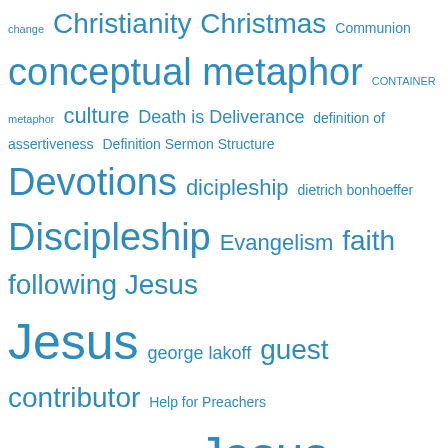[Figure (infographic): A tag cloud / word cloud of theological and preaching-related terms in various sizes and shades of blue, indicating frequency/importance. Terms include: change, Christianity, Christmas, Communion, conceptual metaphor, CONTAINER metaphor, culture, Death is Deliverance, definition of assertiveness, Definition Sermon Structure, Devotions, dicipleship, dietrich bonhoeffer, Discipleship, Evangelism, faith, following Jesus, george lakoff, guest contributor, Help for Preachers, hymnpdy, hymns, innovation, Jesus, Justin Rossow, Knowing is Seeing, Law and Gospel, Leadership and Self-Deception, LIFE IS A JOURNEY, Lord's Supper, Lutheran Meat Grinder, mark turner, Medearis, metaphor in advertising, Metaphor Theory, n. t. wright, next step, Outreach, Prayer, Preaching, Preaching Metaphor, preaching psalms, Prodigal Son, prophesy, relationships]